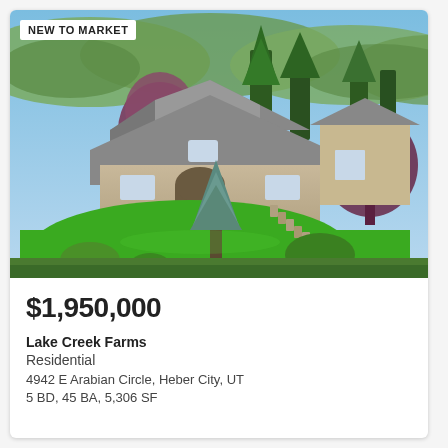[Figure (photo): Aerial/elevated view of a large stone and brick residential home surrounded by mature trees including blue spruce and purple-leaf trees, lush green lawn, landscaped garden with stone steps, and mountain hills in the background under a clear blue sky. Badge text 'NEW TO MARKET' in upper-left corner.]
$1,950,000
Lake Creek Farms
Residential
4942 E Arabian Circle, Heber City, UT
5 BD, 45 BA, 5,306 SF